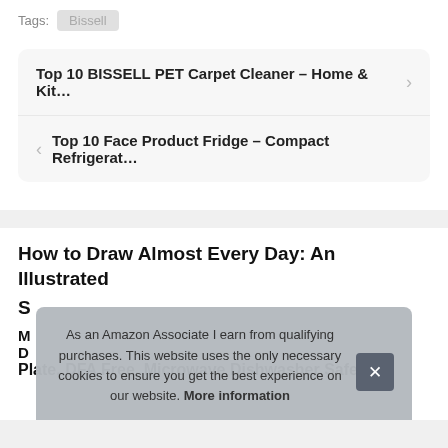Tags: Bissell
Top 10 BISSELL PET Carpet Cleaner – Home & Kit...
Top 10 Face Product Fridge – Compact Refrigerat...
How to Draw Almost Every Day: An Illustrated S
As an Amazon Associate I earn from qualifying purchases. This website uses the only necessary cookies to ensure you get the best experience on our website. More information